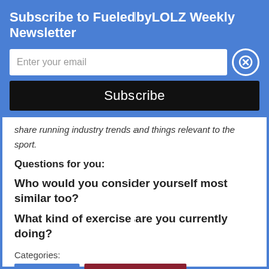Subscribe to FueledbyLOLZ Weekly Newsletter
Enter your email
Subscribe
share running industry trends and things relevant to the sport.
Questions for you:
Who would you consider yourself most similar too?
What kind of exercise are you currently doing?
Categories:
RUNNING
RUNNING READS
Published by Hollie